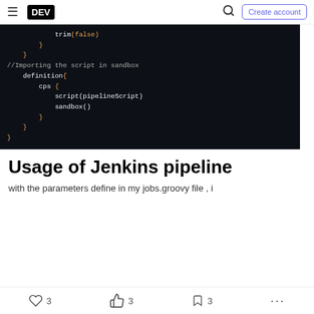DEV | Create account
[Figure (screenshot): Dark-themed code block showing Groovy/Jenkins pipeline script with trim(false), definition{, cps{, script(pipelineScript), sandbox() and closing braces, with a comment //Importing the script in sandbox]
Usage of Jenkins pipeline
with the parameters define in my jobs.groovy file , i
3  3  3  ...